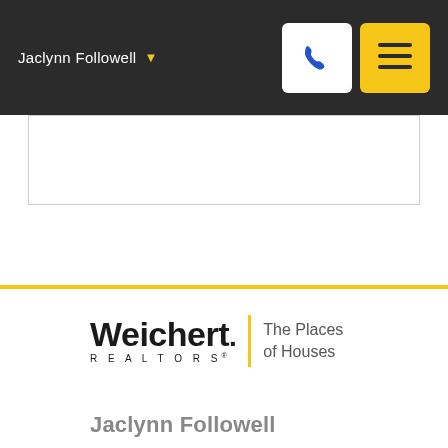Jaclynn Followell
[Figure (logo): Weichert Realtors logo with tagline 'The Places of Houses']
Jaclynn Followell
Cell: 361-229-3894
Office: 361-882-5588
My Office